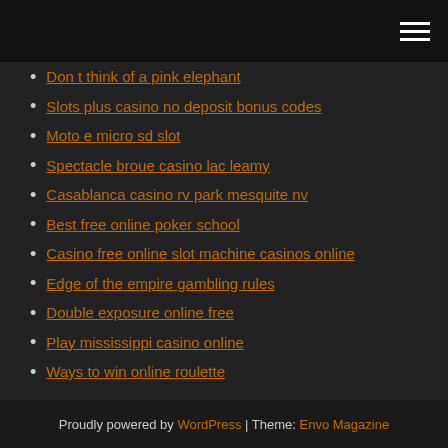Don t think of a pink elephant
Slots plus casino no deposit bonus codes
Moto e micro sd slot
Spectacle broue casino lac leamy
Casablanca casino rv park mesquite nv
Best free online poker school
Casino free online slot machine casinos online
Edge of the empire gambling rules
Double exposure online free
Play mississippi casino online
Ways to win online roulette
Proudly powered by WordPress | Theme: Envo Magazine